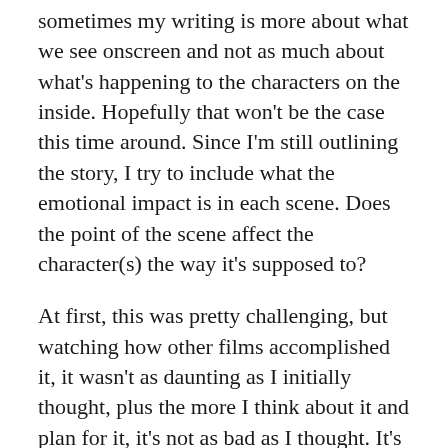sometimes my writing is more about what we see onscreen and not as much about what's happening to the characters on the inside. Hopefully that won't be the case this time around. Since I'm still outlining the story, I try to include what the emotional impact is in each scene. Does the point of the scene affect the character(s) the way it's supposed to?
At first, this was pretty challenging, but watching how other films accomplished it, it wasn't as daunting as I initially thought, plus the more I think about it and plan for it, it's not as bad as I thought. It's helping with the overall development because I'm taking that sort of detail into consideration as part of the initial planning stages, as opposed to trying to work it